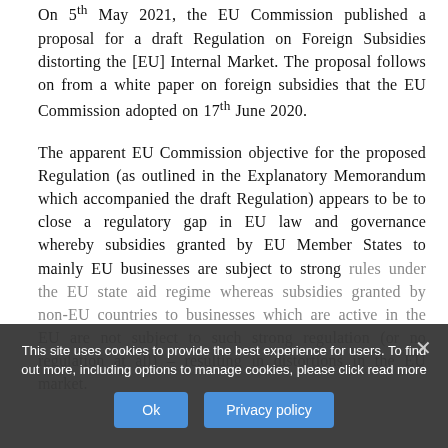On 5th May 2021, the EU Commission published a proposal for a draft Regulation on Foreign Subsidies distorting the [EU] Internal Market. The proposal follows on from a white paper on foreign subsidies that the EU Commission adopted on 17th June 2020.
The apparent EU Commission objective for the proposed Regulation (as outlined in the Explanatory Memorandum which accompanied the draft Regulation) appears to be to close a regulatory gap in EU law and governance whereby subsidies granted by EU Member States to mainly EU businesses are subject to strong rules under the EU state aid regime whereas subsidies granted by non-EU countries to businesses which are active in the EU are not subject to such strong regulation (or no regulation at all) – resulting in distortions in the EU market.
This site uses cookies to provide the best experience for users. To find out more, including options to manage cookies, please click read more